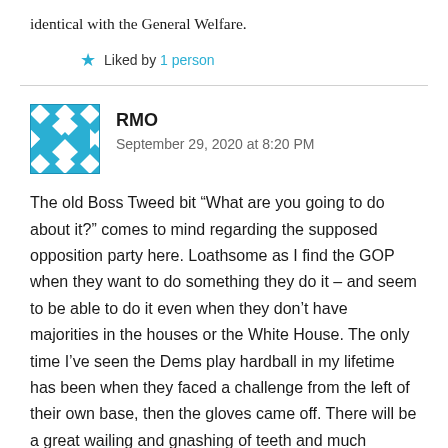identical with the General Welfare.
Liked by 1 person
RMO
September 29, 2020 at 8:20 PM
The old Boss Tweed bit “What are you going to do about it?” comes to mind regarding the supposed opposition party here. Loathsome as I find the GOP when they want to do something they do it – and seem to be able to do it even when they don’t have majorities in the houses or the White House. The only time I’ve seen the Dems play hardball in my lifetime has been when they faced a challenge from the left of their own base, then the gloves came off. There will be a great wailing and gnashing of teeth and much bloviating in the media but she’ll get her appointment. It will be to the detriment of the country but she’ll get it. Of course if the Dems would actually expend